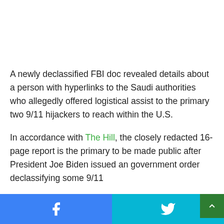A newly declassified FBI doc revealed details about a person with hyperlinks to the Saudi authorities who allegedly offered logistical assist to the primary two 9/11 hijackers to reach within the U.S.
In accordance with The Hill, the closely redacted 16-page report is the primary to be made public after President Joe Biden issued an government order declassifying some 9/11 ...